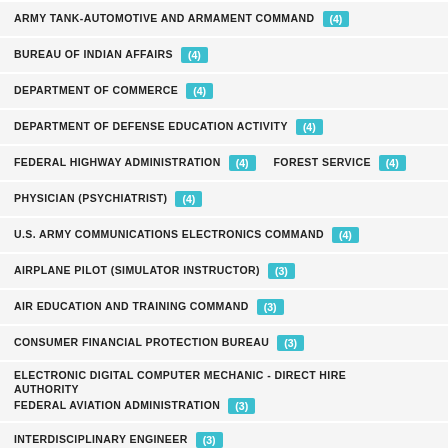ARMY TANK-AUTOMOTIVE AND ARMAMENT COMMAND (4)
BUREAU OF INDIAN AFFAIRS (4)
DEPARTMENT OF COMMERCE (4)
DEPARTMENT OF DEFENSE EDUCATION ACTIVITY (4)
FEDERAL HIGHWAY ADMINISTRATION (4)  FOREST SERVICE (4)
PHYSICIAN (PSYCHIATRIST) (4)
U.S. ARMY COMMUNICATIONS ELECTRONICS COMMAND (4)
AIRPLANE PILOT (SIMULATOR INSTRUCTOR) (3)
AIR EDUCATION AND TRAINING COMMAND (3)
CONSUMER FINANCIAL PROTECTION BUREAU (3)
ELECTRONIC DIGITAL COMPUTER MECHANIC - DIRECT HIRE AUTHORITY  FEDERAL AVIATION ADMINISTRATION (3)
INTERDISCIPLINARY ENGINEER (3)